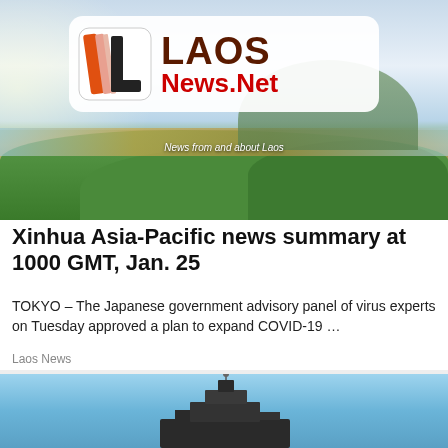[Figure (photo): Laos News.Net website header banner showing a scenic aerial view of the Mekong River with green forests, river, and mountains in the background. The logo shows stylized IL letters in orange/black with LAOS in dark brown and News.Net in red, with tagline 'News from and about Laos']
Xinhua Asia-Pacific news summary at 1000 GMT, Jan. 25
TOKYO – The Japanese government advisory panel of virus experts on Tuesday approved a plan to expand COVID-19 …
Laos News
[Figure (photo): Partial view of a ship or naval vessel silhouette against a blue sky]